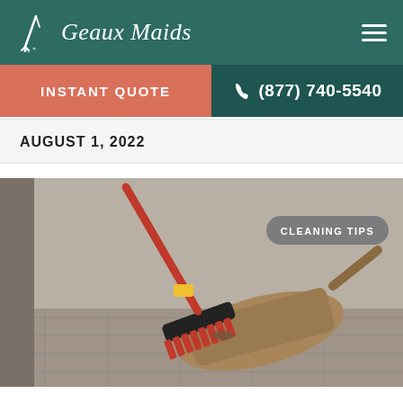Geaux Maids
INSTANT QUOTE | (877) 740-5540
AUGUST 1, 2022
[Figure (photo): A red broom sweeping dirt into a worn dustpan on a stone tile floor, with a badge labeled CLEANING TIPS in the upper right.]